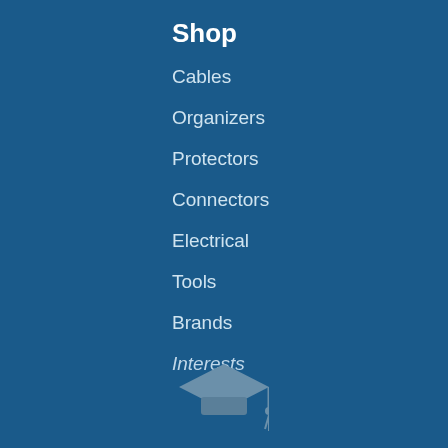Shop
Cables
Organizers
Protectors
Connectors
Electrical
Tools
Brands
Interests
[Figure (illustration): Graduation cap icon in muted blue-grey color at the bottom center of the page]